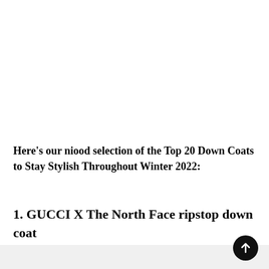Here's our niood selection of the Top 20 Down Coats to Stay Stylish Throughout Winter 2022:
1. GUCCI X The North Face ripstop down coat